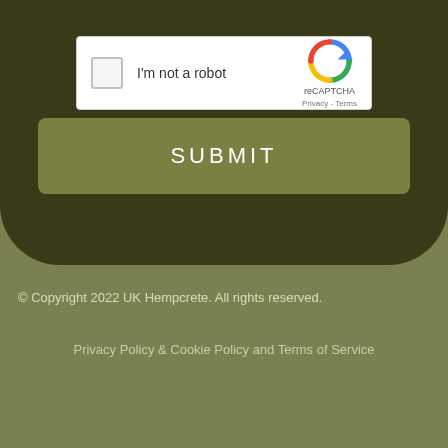[Figure (screenshot): reCAPTCHA widget with checkbox labeled I'm not a robot and reCAPTCHA logo with Privacy and Terms links]
SUBMIT
© Copyright 2022 UK Hempcrete. All rights reserved.
Privacy Policy & Cookie Policy and Terms of Service